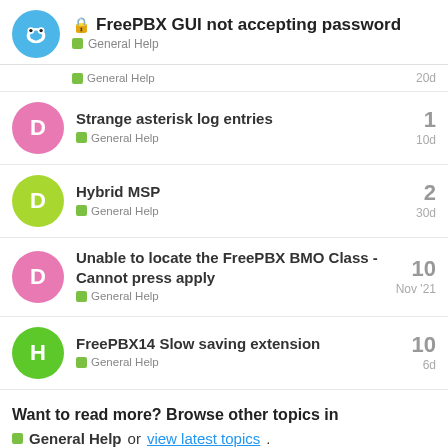FreePBX GUI not accepting password — General Help
General Help — 20d
Strange asterisk log entries — General Help — 10d — replies: 1
Hybrid MSP — General Help — 30d — replies: 2
Unable to locate the FreePBX BMO Class - Cannot press apply — General Help — Nov '21 — replies: 10
FreePBX14 Slow saving extension — General Help — 6d — replies: 10
Want to read more? Browse other topics in General Help or view latest topics.